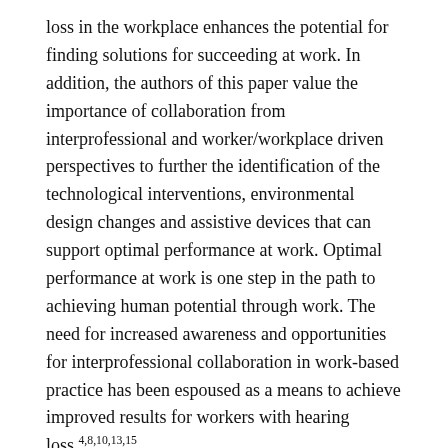loss in the workplace enhances the potential for finding solutions for succeeding at work. In addition, the authors of this paper value the importance of collaboration from interprofessional and worker/workplace driven perspectives to further the identification of the technological interventions, environmental design changes and assistive devices that can support optimal performance at work. Optimal performance at work is one step in the path to achieving human potential through work. The need for increased awareness and opportunities for interprofessional collaboration in work-based practice has been espoused as a means to achieve improved results for workers with hearing loss.4,8,10,13,15
In 2008, Jennings and Shaw identified the need for greater understanding between audiologists and occupational therapists of how they can contribute to finding solutions to complex problems of hearing in everyday occupations.2 There are several models and approaches that can support